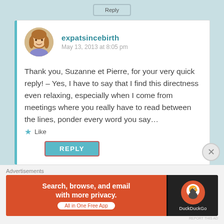expatsincebirth
May 13, 2013 at 8:05 pm
Thank you, Suzanne et Pierre, for your very quick reply! – Yes, I have to say that I find this directness even relaxing, especially when I come from meetings where you really have to read between the lines, ponder every word you say…
Like
REPLY
Advertisements
[Figure (screenshot): DuckDuckGo advertisement banner: orange left panel with text 'Search, browse, and email with more privacy. All in One Free App', dark right panel with DuckDuckGo duck logo and text 'DuckDuckGo']
REPORT THIS AD